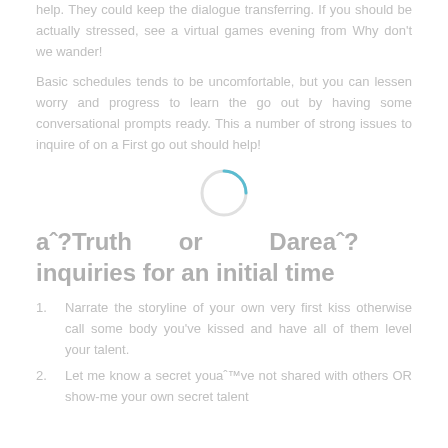help. They could keep the dialogue transferring. If you should be actually stressed, see a virtual games evening from Why don't we wander!
Basic schedules tends to be uncomfortable, but you can lessen worry and progress to learn the go out by having some conversational prompts ready. This a number of strong issues to inquire of on a First go out should help!
[Figure (other): A loading spinner circle graphic, teal/blue outline, partially complete arc indicating loading state]
aˆ?Truth or Dareaˆ? inquiries for an initial time
Narrate the storyline of your own very first kiss otherwise call some body you've kissed and have all of them level your talent.
Let me know a secret youaˆ™ve not shared with others OR show-me your own secret talent